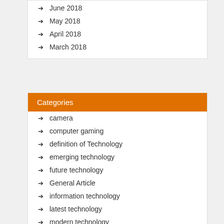June 2018
May 2018
April 2018
March 2018
Categories
camera
computer gaming
definition of Technology
emerging technology
future technology
General Article
information technology
latest technology
modern technology
new technology